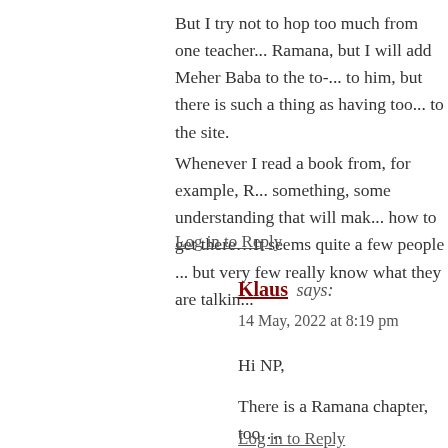But I try not to hop too much from one teacher... Ramana, but I will add Meher Baba to the to-... to him, but there is such a thing as having too... to the site.
Whenever I read a book from, for example, R... something, some understanding that will mak... how to get there…It seems quite a few people... but very few really know what they are talkin...
Log in to Reply
Klaus says:
14 May, 2022 at 8:19 pm
Hi NP,
There is a Ramana chapter, too….
Log in to Reply